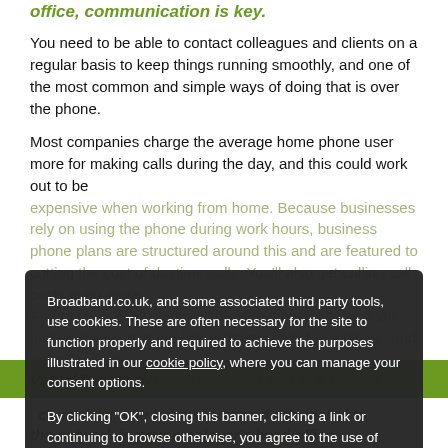office, communication is key.
You need to be able to contact colleagues and clients on a regular basis to keep things running smoothly, and one of the most common and simple ways of doing that is over the phone.
Most companies charge the average home phone user more for making calls during the day, and this could work out to be expensive when working from home. Because businesses rely on using the phone during work hours, business phone plans are structured around this and are tailored to cutting the cost of daytime calls. You'll also get calling call costs even more. And of course, all plans will provide mobile phone deals and packages that include unlimited calls to landlines, and unlimited texts.
Broadband.co.uk, and some associated third party tools, use cookies. These are often necessary for the site to function properly and required to achieve the purposes illustrated in our cookie policy, where you can manage your consent options.
By clicking "OK", closing this banner, clicking a link or continuing to browse otherwise, you agree to the use of cookies.
Read our privacy policy
OK
Virtual Private Network connects you to a remote head office.
connected, you behave just as if connected to the network in your employer's head office.